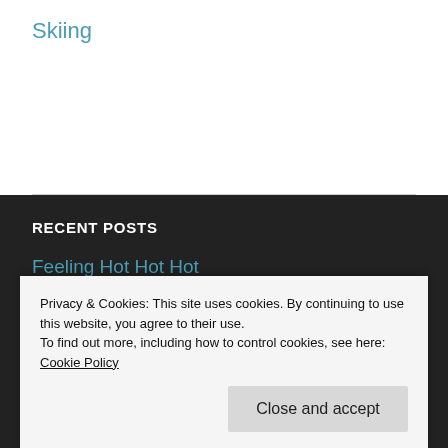Skiing
RECENT POSTS
Feeling Hot Hot Hot
Most Photographs the college f…
Privacy & Cookies: This site uses cookies. By continuing to use this website, you agree to their use.
To find out more, including how to control cookies, see here: Cookie Policy
Close and accept